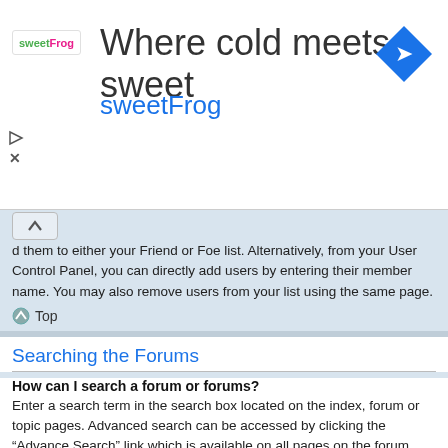[Figure (infographic): SweetFrog advertisement banner with logo, tagline 'Where cold meets sweet', and brand name 'sweetFrog' with navigation icon]
add users to your list in two ways: Within each user's profile, there is a link to add them to either your Friend or Foe list. Alternatively, from your User Control Panel, you can directly add users by entering their member name. You may also remove users from your list using the same page.
Top
Searching the Forums
How can I search a forum or forums?
Enter a search term in the search box located on the index, forum or topic pages. Advanced search can be accessed by clicking the “Advance Search” link which is available on all pages on the forum. How to access the search may depend on the style used.
Top
Why does my search return no results?
Your search was probably too vague and included many common terms which are not indexed by phpBB. Be more specific and use the options available within Advanced search.